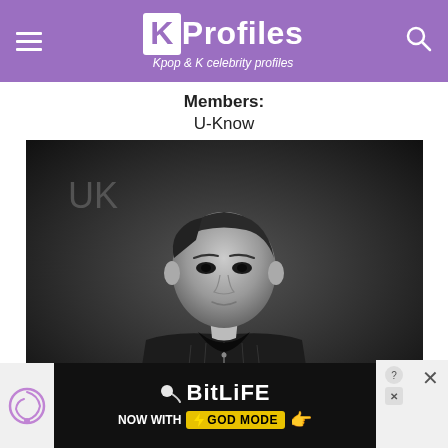K Profiles — Kpop & K celebrity profiles
Members:
U-Know
[Figure (photo): Black and white promotional photo of U-Know (K-pop artist) wearing a patterned jacket, with 'UK' logo in the upper left corner]
[Figure (screenshot): BitLife advertisement banner — 'BitLife NOW WITH GOD MODE' with game icon, question mark and X buttons]